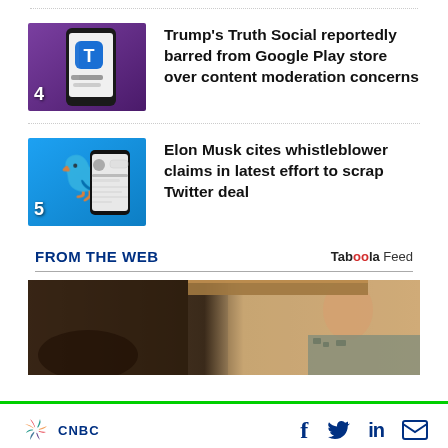Trump's Truth Social reportedly barred from Google Play store over content moderation concerns
Elon Musk cites whistleblower claims in latest effort to scrap Twitter deal
FROM THE WEB
[Figure (photo): Taboola sponsored content image showing a person in military uniform]
CNBC — social links: Facebook, Twitter, LinkedIn, Email